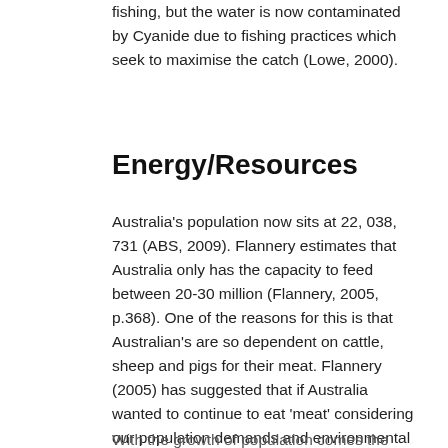fishing, but the water is now contaminated by Cyanide due to fishing practices which seek to maximise the catch (Lowe, 2000).
Energy/Resources
Australia's population now sits at 22, 038, 731 (ABS, 2009). Flannery estimates that Australia only has the capacity to feed between 20-30 million (Flannery, 2005, p.368). One of the reasons for this is that Australian's are so dependent on cattle, sheep and pigs for their meat. Flannery (2005) has suggested that if Australia wanted to continue to eat 'meat' considering our population demands and environmental sustainability, we would need to start eating kangaroos, goats, feral pigs, rabbits, wild dogs, horses and emus (p.398). Of course, the alternative of a plant based diet sounds like a more advantageous and appealing option for everyone involved.
With the growth of population comes the increased